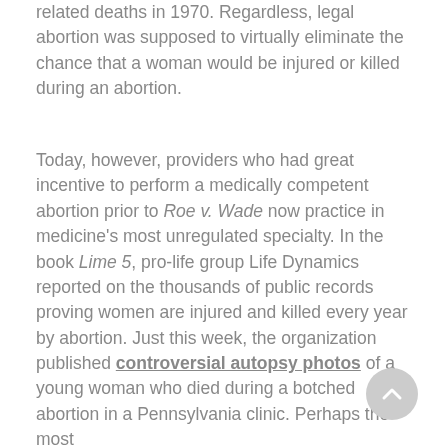related deaths in 1970. Regardless, legal abortion was supposed to virtually eliminate the chance that a woman would be injured or killed during an abortion.
Today, however, providers who had great incentive to perform a medically competent abortion prior to Roe v. Wade now practice in medicine's most unregulated specialty. In the book Lime 5, pro-life group Life Dynamics reported on the thousands of public records proving women are injured and killed every year by abortion. Just this week, the organization published controversial autopsy photos of a young woman who died during a botched abortion in a Pennsylvania clinic. Perhaps the most